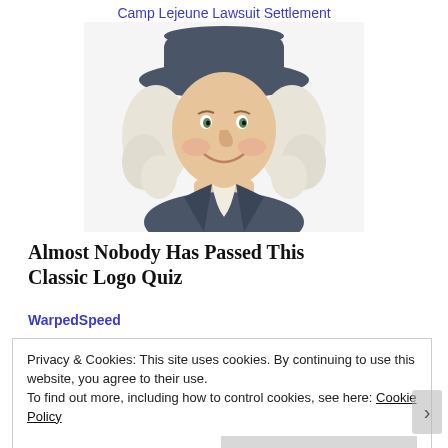Camp Lejeune Lawsuit Settlement
[Figure (illustration): Illustration of the Quaker Oats mascot — a smiling man with white curly hair, a wide-brimmed dark hat, and a white cravat over a dark coat, shown from the shoulders up against a white background.]
Almost Nobody Has Passed This Classic Logo Quiz
WarpedSpeed
Privacy & Cookies: This site uses cookies. By continuing to use this website, you agree to their use.
To find out more, including how to control cookies, see here: Cookie Policy
Close and accept